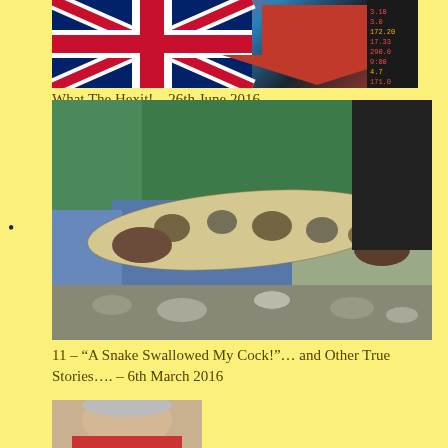[Figure (photo): Photo showing UK Union Jack flag and a red arrow with stock market ticker numbers, related to Brexit/Hexit theme]
What The Hexit! – 26th June 2016
bullet point
[Figure (photo): Photo of a person holding a large snake (python or boa), kneeling on rocky ground, wearing green jacket and jeans]
11 – “A Snake Swallowed My Cock!”… and Other True Stories…. – 6th March 2016
[Figure (photo): Partial photo of a person's face/head at bottom of page]